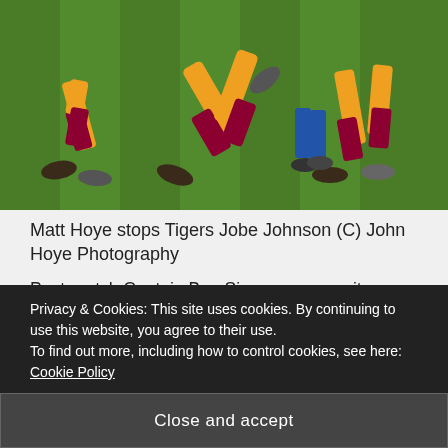[Figure (photo): Rugby players mid-game on green grass field; players wearing maroon and amber/gold striped socks and boots visible]
Matt Hoye stops Tigers Jobe Johnson (C) John Hoye Photography
Post-match Captain Ben Simpson was quite upbeat about the game, taking a large number of positives from the game, adding that the mixture of the youth and experience in the side will leave them in a good place for their Conference B fixtures that follow in the second half of the
Privacy & Cookies: This site uses cookies. By continuing to use this website, you agree to their use.
To find out more, including how to control cookies, see here: Cookie Policy
Close and accept